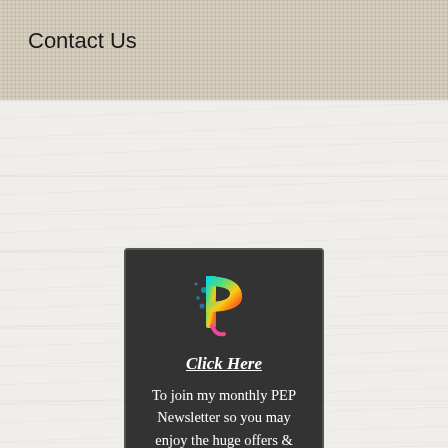Contact Us
[Figure (logo): Dark card with colorful stylized P logo, 'Click Here' link text, and newsletter signup text reading: To join my monthly PEP Newsletter so you may enjoy the huge offers & discounts as they become available!]